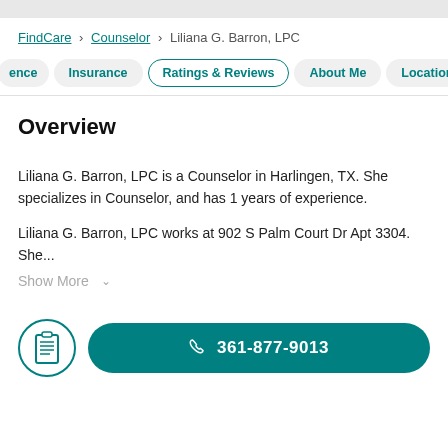FindCare > Counselor > Liliana G. Barron, LPC
ence
Insurance
Ratings & Reviews
About Me
Locations
Overview
Liliana G. Barron, LPC is a Counselor in Harlingen, TX. She specializes in Counselor, and has 1 years of experience.
Liliana G. Barron, LPC works at 902 S Palm Court Dr Apt 3304. She...
Show More
361-877-9013